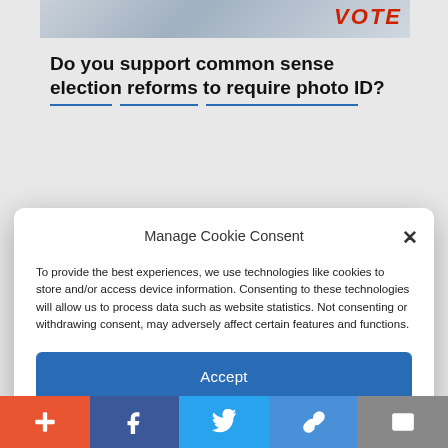[Figure (screenshot): Partial webpage screenshot showing a banner image with red VOTE text, an article headline about election reforms and photo ID, partially obscured by a cookie consent modal dialog with Accept button and Cookie/Privacy Policy links, and a social share bar at the bottom.]
Do you support common sense election reforms to require photo ID?
Manage Cookie Consent
To provide the best experiences, we use technologies like cookies to store and/or access device information. Consenting to these technologies will allow us to process data such as website statistics. Not consenting or withdrawing consent, may adversely affect certain features and functions.
Accept
Cookie Policy   Privacy Policy
Would our government work better if members of Congress could only